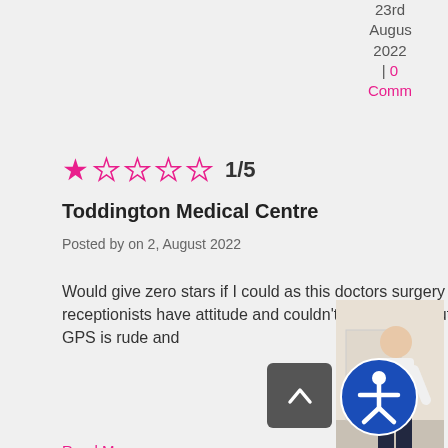23rd August 2022 | 0 Comments
[Figure (photo): Photo of a person standing, wearing white top and dark pants]
[Figure (photo): Did you know that you can self refer text in pink]
1/5
Toddington Medical Centre
Posted by on 2, August 2022
Would give zero stars if I could as this doctors surgery is appalling. Most (not all) of the receptionists have attitude and couldn't care less about the patients. One of the female GPS is rude and
Read More
Did you know that you can self refer